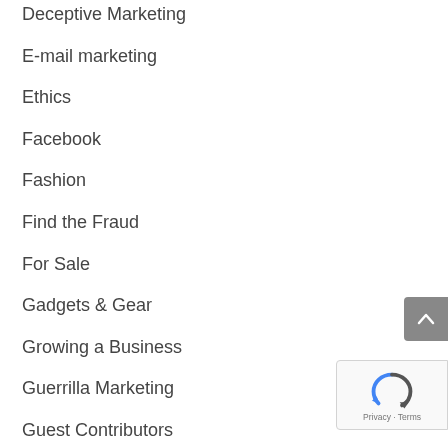Deceptive Marketing
E-mail marketing
Ethics
Facebook
Fashion
Find the Fraud
For Sale
Gadgets & Gear
Growing a Business
Guerrilla Marketing
Guest Contributors
Interviews